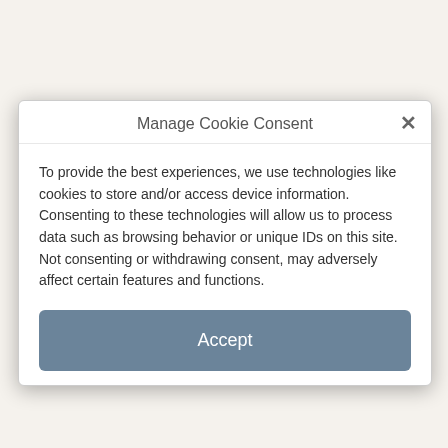Manage Cookie Consent
To provide the best experiences, we use technologies like cookies to store and/or access device information. Consenting to these technologies will allow us to process data such as browsing behavior or unique IDs on this site. Not consenting or withdrawing consent, may adversely affect certain features and functions.
Accept
Deny
Technologies
View preferences
Broadband technologies
Privacy Policy
TV and video technologies